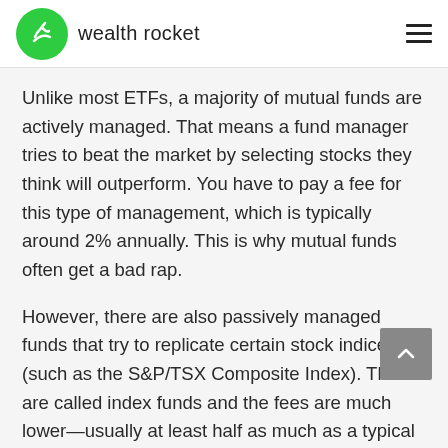wealth rocket
Unlike most ETFs, a majority of mutual funds are actively managed. That means a fund manager tries to beat the market by selecting stocks they think will outperform. You have to pay a fee for this type of management, which is typically around 2% annually. This is why mutual funds often get a bad rap.
However, there are also passively managed funds that try to replicate certain stock indices (such as the S&P/TSX Composite Index). These are called index funds and the fees are much lower—usually at least half as much as a typical mutual fund.
Canada's big banks and other large financial institutions